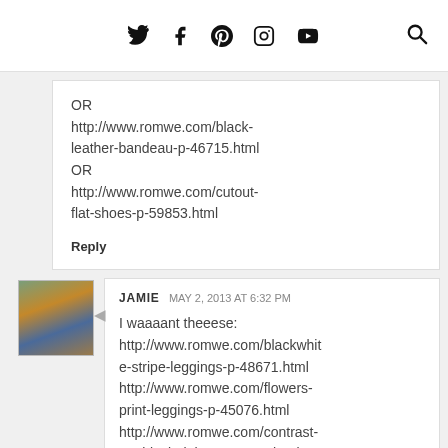Twitter Facebook Pinterest Instagram YouTube [Search]
OR http://www.romwe.com/black-leather-bandeau-p-46715.html OR http://www.romwe.com/cutout-flat-shoes-p-59853.html
Reply
JAMIE  MAY 2, 2013 AT 6:32 PM
I waaaant theeese: http://www.romwe.com/blackwhite-stripe-leggings-p-48671.html http://www.romwe.com/flowers-print-leggings-p-45076.html http://www.romwe.com/contrast-cat-black-tights-p-62201.html